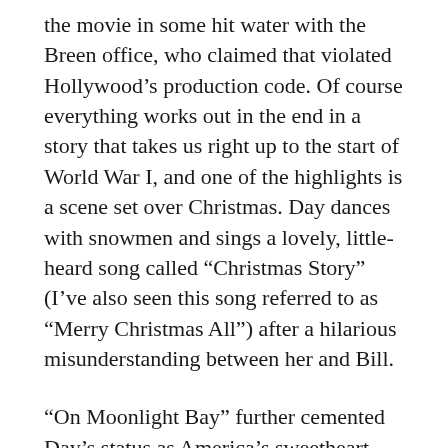the movie in some hit water with the Breen office, who claimed that violated Hollywood's production code. Of course everything works out in the end in a story that takes us right up to the start of World War I, and one of the highlights is a scene set over Christmas. Day dances with snowmen and sings a lovely, little-heard song called “Christmas Story” (I’ve also seen this song referred to as “Merry Christmas All”) after a hilarious misunderstanding between her and Bill.
“On Moonlight Bay” further cemented Day’s status as America’s sweetheart (even though she was already embarking on her third marriage around the time of this film’s release) was a big hit at the box office, so much so that Warner Brothers immediately commissioned a 1953’s “By the Light…